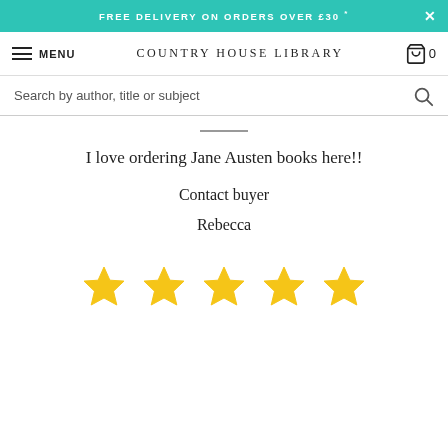FREE DELIVERY ON ORDERS OVER £30 *
MENU  COUNTRY HOUSE LIBRARY  0
Search by author, title or subject
I love ordering Jane Austen books here!!
Contact buyer
Rebecca
[Figure (other): Five gold star rating icons displayed in a row]